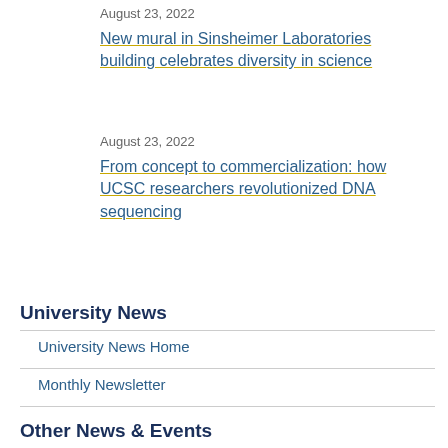August 23, 2022
New mural in Sinsheimer Laboratories building celebrates diversity in science
August 23, 2022
From concept to commercialization: how UCSC researchers revolutionized DNA sequencing
University News
University News Home
Monthly Newsletter
Other News & Events